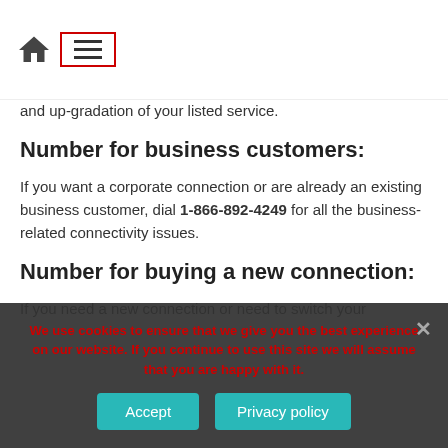Home navigation and menu
and up-gradation of your listed service.
Number for business customers:
If you want a corporate connection or are already an existing business customer, dial 1-866-892-4249 for all the business-related connectivity issues.
Number for buying a new connection:
If you need a new connection or need to switch your
We use cookies to ensure that we give you the best experience on our website. If you continue to use this site we will assume that you are happy with it.